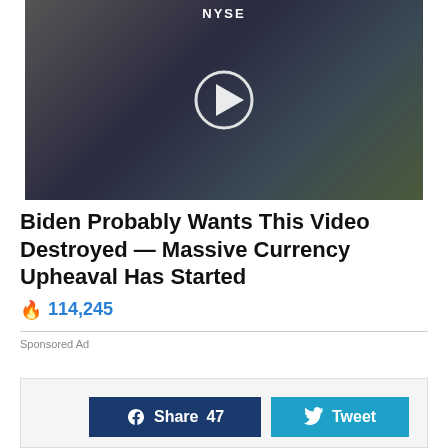[Figure (screenshot): Video thumbnail showing people at NYSE trading floor with a play button overlay. Text 'NYSE' visible at top center.]
Biden Probably Wants This Video Destroyed — Massive Currency Upheaval Has Started
🔥 114,245
Sponsored Ad
[Figure (screenshot): Social sharing bar with Facebook Share 47 button and Tweet button]